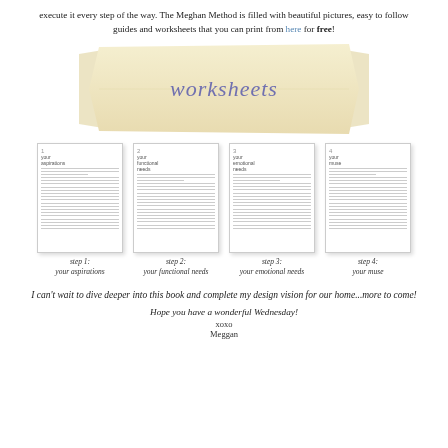execute it every step of the way. The Meghan Method is filled with beautiful pictures, easy to follow guides and worksheets that you can print from here for free!
[Figure (photo): A folded fabric banner with the handwritten word 'worksheets' in purple cursive lettering on a cream/tan colored cloth.]
[Figure (other): Four worksheet thumbnail images shown side by side: step 1: your aspirations, step 2: your functional needs, step 3: your emotional needs, step 4: your muse]
step 1: your aspirations
step 2: your functional needs
step 3: your emotional needs
step 4: your muse
I can't wait to dive deeper into this book and complete my design vision for our home...more to come!
Hope you have a wonderful Wednesday!
xoxo
Meggan